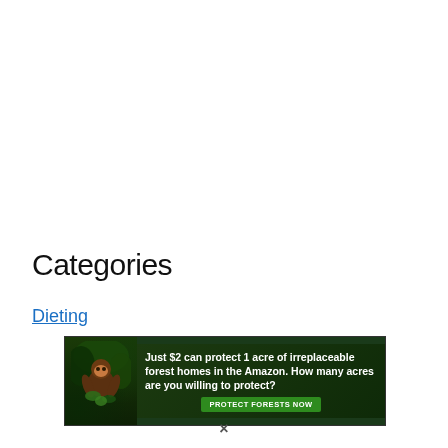Categories
Dieting
[Figure (infographic): Advertisement banner with dark green forest background, animal image on left, text reading 'Just $2 can protect 1 acre of irreplaceable forest homes in the Amazon. How many acres are you willing to protect?' and a green button labeled 'PROTECT FORESTS NOW']